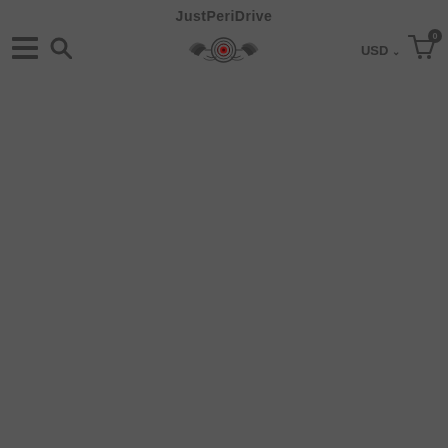JustPeriDrive — navigation header with hamburger menu, search, logo, USD currency selector, and shopping cart (0 items)